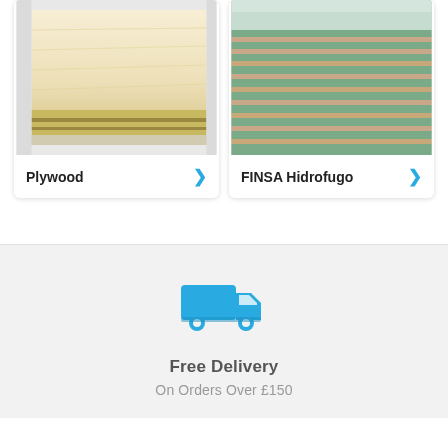[Figure (photo): Close-up photo of a light-coloured plywood sheet with layered edges visible]
Plywood
[Figure (photo): Close-up photo of stacked FINSA Hidrofugo green moisture-resistant MDF/plywood boards showing layers]
FINSA Hidrofugo
[Figure (illustration): Blue delivery truck icon]
Free Delivery
On Orders Over £150